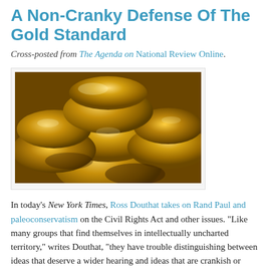A Non-Cranky Defense Of The Gold Standard
Cross-posted from The Agenda on National Review Online.
[Figure (photo): Close-up photograph of ornate golden ingots or gold nuggets piled together, with intricate decorative carvings on their surfaces.]
In today's New York Times, Ross Douthat takes on Rand Paul and paleoconservatism on the Civil Rights Act and other issues. “Like many groups that find themselves in intellectually uncharted territory,” writes Douthat, “they have trouble distinguishing between ideas that deserve a wider hearing and ideas that are crankish or worse. (Hence Ron Paul’s obsession with the gold standard and his son’s weakness for conspiracy theories.)”